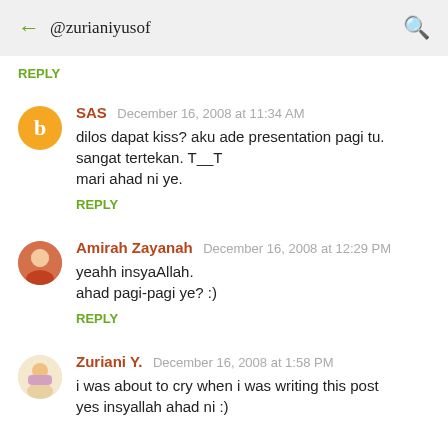@zurianiyusof
REPLY
SAS  December 16, 2008 at 11:34 AM
dilos dapat kiss? aku ade presentation pagi tu. sangat tertekan. T__T
mari ahad ni ye.
REPLY
Amirah Zayanah  December 16, 2008 at 12:29 PM
yeahh insyaAllah.
ahad pagi-pagi ye? :)
REPLY
Zuriani Y.  December 16, 2008 at 1:58 PM
i was about to cry when i was writing this post
yes insyallah ahad ni :)